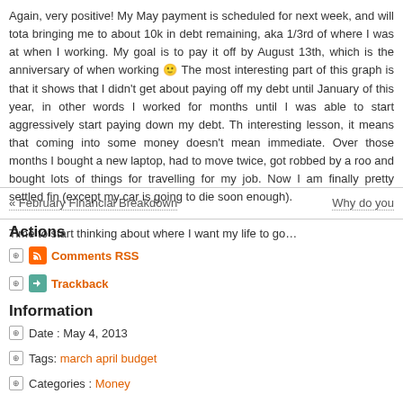Again, very positive!  My May payment is scheduled for next week, and will total bringing me to about 10k in debt remaining, aka 1/3rd of where I was at when I working.  My goal is to pay it off by August 13th, which is the anniversary of when working 🙂  The most interesting part of this graph is that it shows that I didn't get about paying off my debt until January of this year, in other words I worked for months until I was able to start aggressively start paying down my debt.  Th interesting lesson, it means that coming into some money doesn't mean immediate.  Over those months I bought a new laptop, had to move twice, got robbed by a roo and bought lots of things for travelling for my job.  Now I am finally pretty settled fin (except my car is going to die soon enough).
Time to start thinking about where I want my life to go…
« February Financial Breakdown    Why do you
Actions
Comments RSS
Trackback
Information
Date : May 4, 2013
Tags: march april budget
Categories : Money